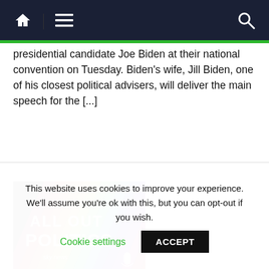Navigation bar with home, menu, and search icons
presidential candidate Joe Biden at their national convention on Tuesday. Biden's wife, Jill Biden, one of his closest political advisers, will deliver the main speech for the [...]
[Figure (illustration): All Out Politics podcast cover image — colourful diagonal rainbow stripes with white text 'ALL OUT POLITICS' and 'sky news' branding with a microphone icon]
Politics
All Out Politics podcast: Batley and Spen – Labour hold…Just
This website uses cookies to improve your experience. We'll assume you're ok with this, but you can opt-out if you wish.
Cookie settings
ACCEPT